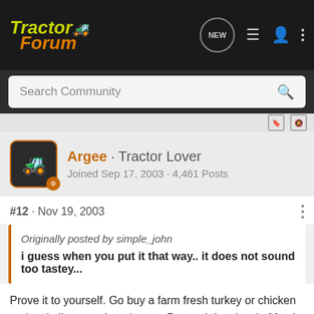TractorForum
Search Community
[Figure (screenshot): User avatar showing a yellow tractor icon on dark background with orange border and orange badge]
Argee · Tractor Lover
Joined Sep 17, 2003 · 4,461 Posts
#12 · Nov 19, 2003
Originally posted by simple_john
i guess when you put it that way.. it does not sound too tastey...
Prove it to yourself. Go buy a farm fresh turkey or chicken and a similar store bought one. Put each in a bowl of fresh water to soak. Af... ...water is the sam...
[Figure (screenshot): GroundOS advertisement banner: The nation's top land brokers run on GroundOS. REQUEST A DEMO]